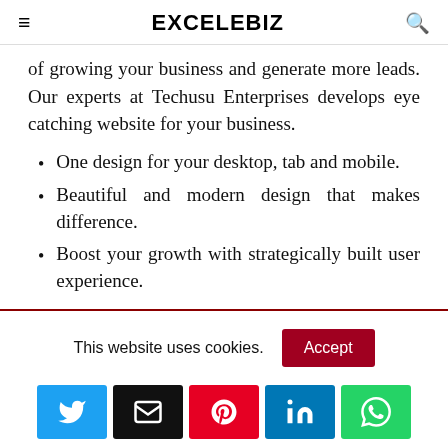EXCELEBIZ
of growing your business and generate more leads. Our experts at Techusu Enterprises develops eye catching website for your business.
One design for your desktop, tab and mobile.
Beautiful and modern design that makes difference.
Boost your growth with strategically built user experience.
This website uses cookies. Accept
[Figure (other): Social share buttons: Twitter, Email, Pinterest, LinkedIn, WhatsApp]